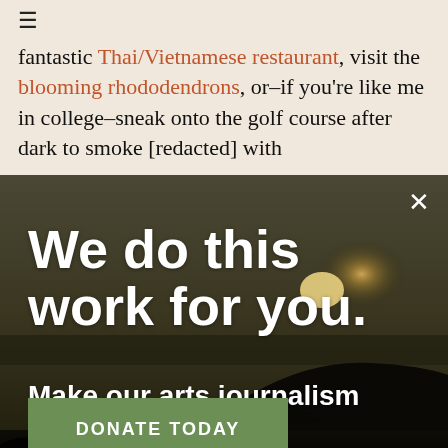≡
fantastic Thai/Vietnamese restaurant, visit the blooming rhododendrons, or–if you're like me in college–sneak onto the golf course after dark to smoke [redacted] with
[Figure (photo): Sunset landscape photo with silhouetted cliff/landmass and dark foreground vegetation, used as background for a donation overlay advertisement. Overlay text reads: 'We do this work for you. Make our arts journalism possible.' with a green DONATE TODAY button.]